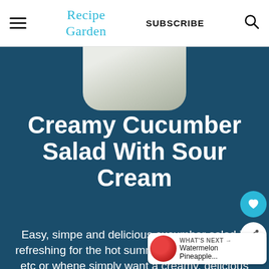Recipe Garden  SUBSCRIBE
[Figure (photo): Partial top image of creamy cucumber salad visible in a rounded pill-shaped cutout at the top of a dark teal banner]
Creamy Cucumber Salad With Sour Cream
Easy, simpe and delicious cucumber salad is refreshing for the hot summer months, potlucks etc or whenever simply want a creamy, delicious refreshing salad for lunch, dinner, sides
[Figure (infographic): What's Next promo: Watermelon Pineapple... with a circular food photo thumbnail]